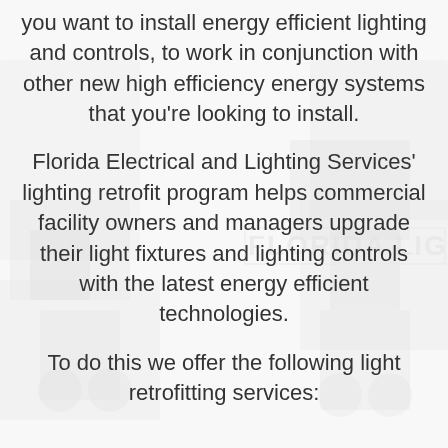[Figure (photo): Background image of construction/electrical equipment or vehicles, very light/faded overlay with 'FLORIDA LIGHTING' text visible in the background]
you want to install energy efficient lighting and controls, to work in conjunction with other new high efficiency energy systems that you're looking to install.
Florida Electrical and Lighting Services' lighting retrofit program helps commercial facility owners and managers upgrade their light fixtures and lighting controls with the latest energy efficient technologies.
To do this we offer the following light retrofitting services: